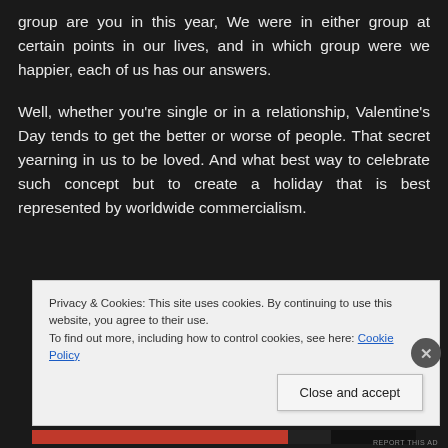group are you in this year, We were in either group at certain points in our lives, and in which group were we happier, each of us has our answers.
Well, whether you're single or in a relationship, Valentine's Day tends to get the better or worse of people. That secret yearning in us to be loved. And what best way to celebrate such concept but to create a holiday that is best represented by worldwide commercialism.
Privacy & Cookies: This site uses cookies. By continuing to use this website, you agree to their use.
To find out more, including how to control cookies, see here: Cookie Policy
Close and accept